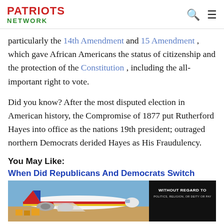PATRIOTS NETWORK
particularly the 14th Amendment and 15 Amendment, which gave African Americans the status of citizenship and the protection of the Constitution, including the all-important right to vote.
Did you know? After the most disputed election in American history, the Compromise of 1877 put Rutherford Hayes into office as the nations 19th president; outraged northern Democrats derided Hayes as His Fraudulency.
You May Like:
When Did Republicans And Democrats Switch
[Figure (photo): Advertisement banner showing a cargo airplane being loaded, with text 'WITHOUT REGARD TO POLITICS, RELIGION, OR DEITY OR PAY' on a dark background on the right side.]